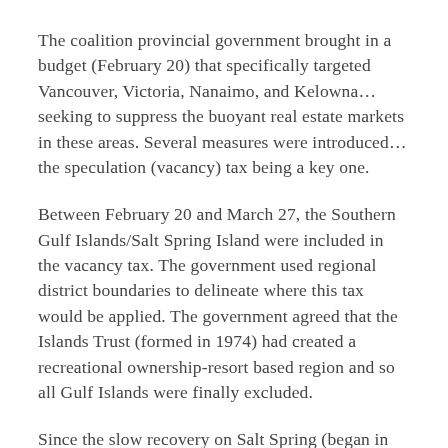The coalition provincial government brought in a budget (February 20) that specifically targeted Vancouver, Victoria, Nanaimo, and Kelowna…seeking to suppress the buoyant real estate markets in these areas. Several measures were introduced…the speculation (vacancy) tax being a key one.
Between February 20 and March 27, the Southern Gulf Islands/Salt Spring Island were included in the vacancy tax. The government used regional district boundaries to delineate where this tax would be applied. The government agreed that the Islands Trust (formed in 1974) had created a recreational ownership-resort based region and so all Gulf Islands were finally excluded.
Since the slow recovery on Salt Spring (began in mid-March 2016), inventory in place, due to the economic meltdowns of late 2008, had slowly cleared out. Fall 2017 & up to late February 2018 saw consistent sales and in all price ranges. Then in February 20 l and…